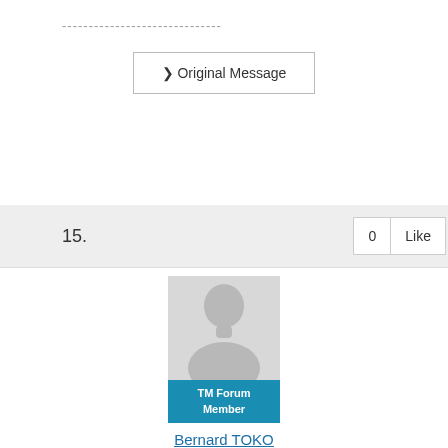[Figure (screenshot): Hamburger menu icon button in top navigation bar]
------------------------------
❯ Original Message
15.
0  Like
[Figure (photo): Default avatar silhouette placeholder image for user profile]
TM Forum Member
Bernard TOKO